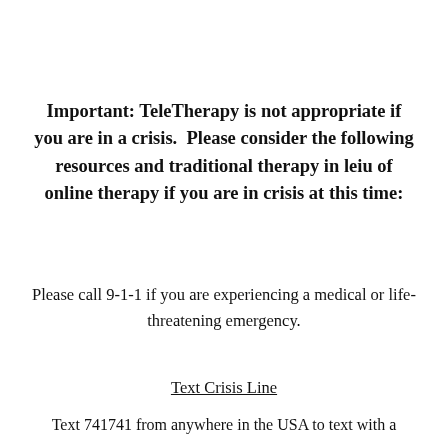Important: TeleTherapy is not appropriate if you are in a crisis.  Please consider the following resources and traditional therapy in leiu of online therapy if you are in crisis at this time:
Please call 9-1-1 if you are experiencing a medical or life-threatening emergency.
Text Crisis Line
Text 741741 from anywhere in the USA to text with a